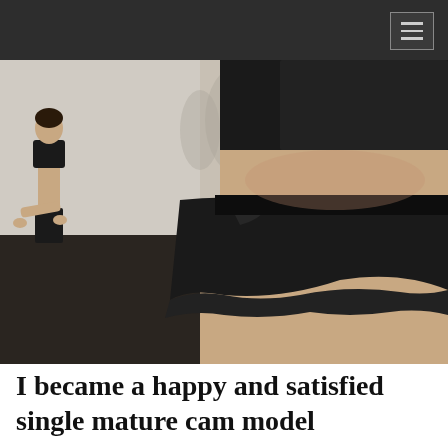[Figure (photo): Close-up photo of a woman from behind wearing a black crop top and a short black flowy skirt, in a dance studio or gym environment. In the background mirror reflection shows another woman in black workout clothes.]
I became a happy and satisfied single mature cam model